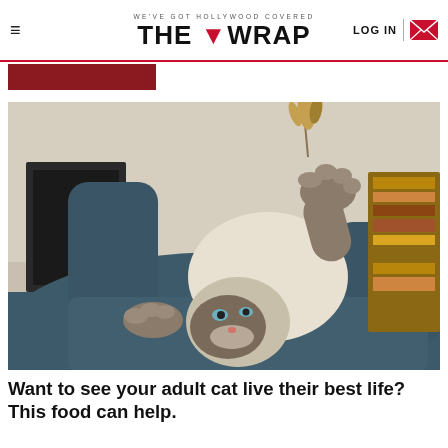WE'VE GOT HOLLYWOOD COVERED — THE WRAP — LOG IN
[Figure (other): Red/maroon colored banner strip below header navigation]
[Figure (photo): A Siamese/Ragdoll cat lying upside down on a dark blue/teal armchair, playfully reaching up with one paw toward a feather toy. Fireplace and bookshelves visible in background.]
Want to see your adult cat live their best life? This food can help.